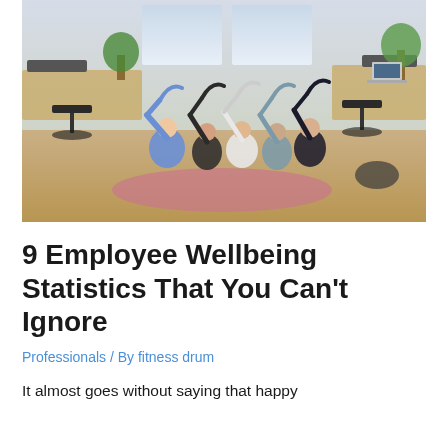[Figure (photo): Group of office workers doing yoga/stretching exercises on yoga mats on an office floor, surrounded by desks, chairs, computers and plants. People are seated and stretching their arms overhead to the side.]
9 Employee Wellbeing Statistics That You Can't Ignore
Professionals / By fitness drum
It almost goes without saying that happy